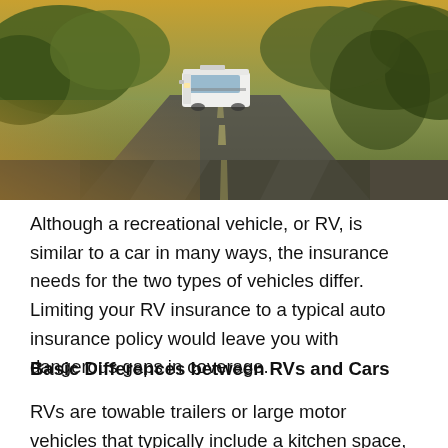[Figure (photo): Aerial/road-level photo of a white motorhome/RV driving on a road surrounded by trees with warm golden-green lighting]
Although a recreational vehicle, or RV, is similar to a car in many ways, the insurance needs for the two types of vehicles differ. Limiting your RV insurance to a typical auto insurance policy would leave you with dangerous gaps in coverage.
Basic Differences between RVs and Cars
RVs are towable trailers or large motor vehicles that typically include a kitchen space, bathroom, and living